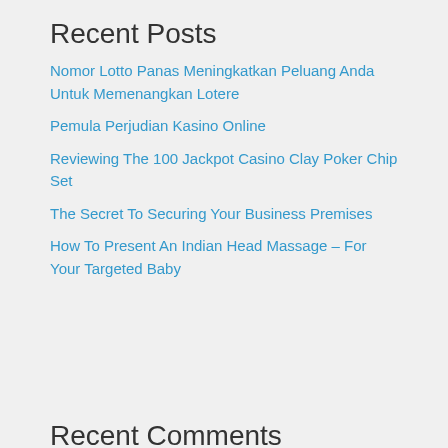Recent Posts
Nomor Lotto Panas Meningkatkan Peluang Anda Untuk Memenangkan Lotere
Pemula Perjudian Kasino Online
Reviewing The 100 Jackpot Casino Clay Poker Chip Set
The Secret To Securing Your Business Premises
How To Present An Indian Head Massage – For Your Targeted Baby
Recent Comments
No comments to show.